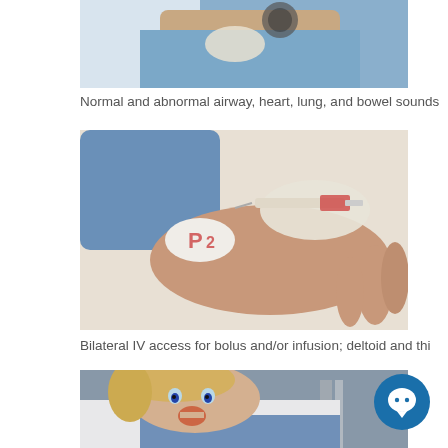[Figure (photo): Partial view of a medical simulation mannequin being examined with a stethoscope by a person in a white coat, blue gown visible]
Normal and abnormal airway, heart, lung, and bowel sounds
[Figure (photo): Medical simulation showing IV access procedure on a mannequin arm with a syringe being inserted, gloved hand visible]
Bilateral IV access for bolus and/or infusion; deltoid and thi
[Figure (photo): Child mannequin simulator lying in a hospital bed with mouth open and eyes open, appearing to be a pediatric patient simulation model]